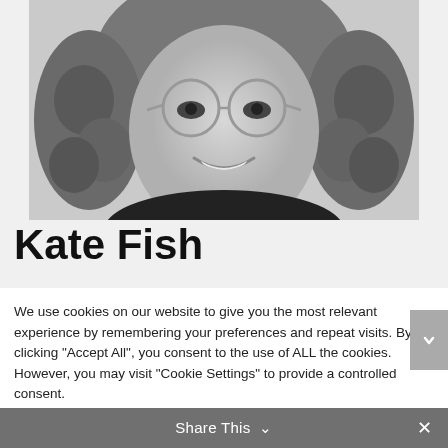[Figure (photo): Black and white close-up portrait photo of Kate Fish, a woman with curly hair and round glasses, smiling.]
Kate Fish
We use cookies on our website to give you the most relevant experience by remembering your preferences and repeat visits. By clicking "Accept All", you consent to the use of ALL the cookies. However, you may visit "Cookie Settings" to provide a controlled consent.
Cookie Settings | Accept All
Share This ∨  ×